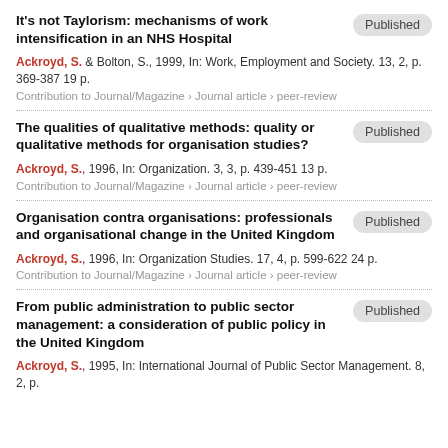It's not Taylorism: mechanisms of work intensification in an NHS Hospital
Ackroyd, S. & Bolton, S., 1999, In: Work, Employment and Society. 13, 2, p. 369-387 19 p.
Contribution to Journal/Magazine › Journal article › peer-review
The qualities of qualitative methods: quality or qualitative methods for organisation studies?
Ackroyd, S., 1996, In: Organization. 3, 3, p. 439-451 13 p.
Contribution to Journal/Magazine › Journal article › peer-review
Organisation contra organisations: professionals and organisational change in the United Kingdom
Ackroyd, S., 1996, In: Organization Studies. 17, 4, p. 599-622 24 p.
Contribution to Journal/Magazine › Journal article › peer-review
From public administration to public sector management: a consideration of public policy in the United Kingdom
Ackroyd, S., 1995, In: International Journal of Public Sector Management. 8, 2, p. 4-31 31 p.